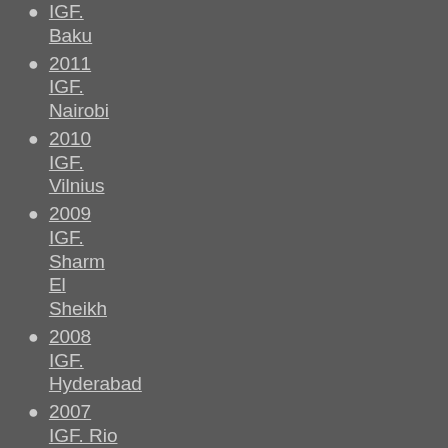IGF. Baku
2011 IGF. Nairobi
2010 IGF. Vilnius
2009 IGF. Sharm El Sheikh
2008 IGF. Hyderabad
2007 IGF. Rio de Janeiro
2006 IGF. Athens